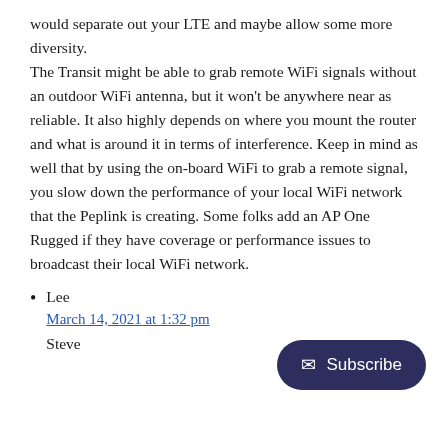would separate out your LTE and maybe allow some more diversity.
The Transit might be able to grab remote WiFi signals without an outdoor WiFi antenna, but it won't be anywhere near as reliable. It also highly depends on where you mount the router and what is around it in terms of interference. Keep in mind as well that by using the on-board WiFi to grab a remote signal, you slow down the performance of your local WiFi network that the Peplink is creating. Some folks add an AP One Rugged if they have coverage or performance issues to broadcast their local WiFi network.
Lee
March 14, 2021 at 1:32 pm
Steve
[Figure (other): Subscribe button with envelope icon, dark navy background, rounded pill shape]